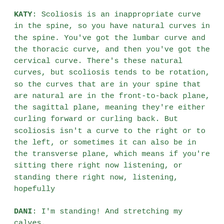KATY: Scoliosis is an inappropriate curve in the spine, so you have natural curves in the spine. You've got the lumbar curve and the thoracic curve, and then you've got the cervical curve. There's these natural curves, but scoliosis tends to be rotation, so the curves that are in your spine that are natural are in the front-to-back plane, the sagittal plane, meaning they're either curling forward or curling back. But scoliosis isn't a curve to the right or to the left, or sometimes it can also be in the transverse plane, which means if you're sitting there right now listening, or standing there right now, listening, hopefully
DANI: I'm standing! And stretching my calves.